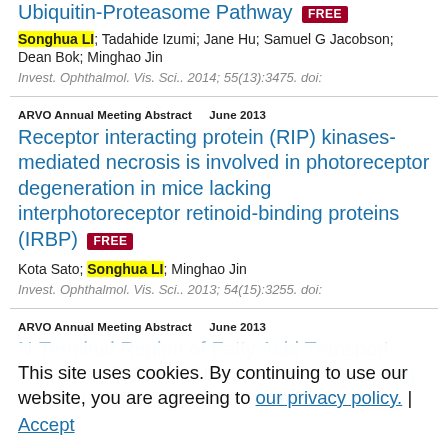Ubiquitin-Proteasome Pathway FREE
Songhua LI; Tadahide Izumi; Jane Hu; Samuel G Jacobson; Dean Bok; Minghao Jin
Invest. Ophthalmol. Vis. Sci.. 2014; 55(13):3475. doi:
ARVO Annual Meeting Abstract   June 2013
Receptor interacting protein (RIP) kinases-mediated necrosis is involved in photoreceptor degeneration in mice lacking interphotoreceptor retinoid-binding proteins (IRBP) FREE
Kota Sato; Songhua LI; Minghao Jin
Invest. Ophthalmol. Vis. Sci.. 2013; 54(15):3255. doi:
ARVO Annual Meeting Abstract   June 2013
N-Terminal Region of Fatty Acid Transport Protein 4 (FATP4) Is Important for Interacting with and Inhibiting RPE65 Isomerase FREE
This site uses cookies. By continuing to use our website, you are agreeing to our privacy policy. Accept